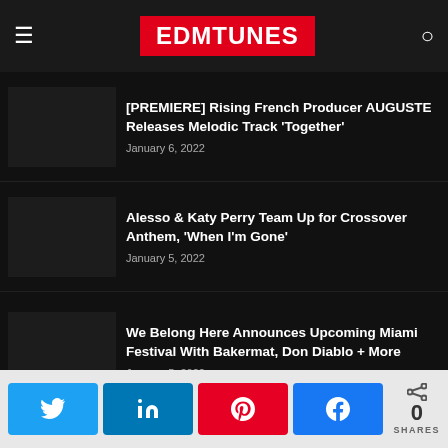EDMTUNES
[PREMIERE] Rising French Producer AUGUSTE Releases Melodic Track 'Together' — January 6, 2022
Alesso & Katy Perry Team Up for Crossover Anthem, 'When I'm Gone' — January 5, 2022
We Belong Here Announces Upcoming Miami Festival With Bakermat, Don Diablo + More — January 5, 2022
0 SHARES — Twitter, LinkedIn, Pinterest, Facebook share buttons